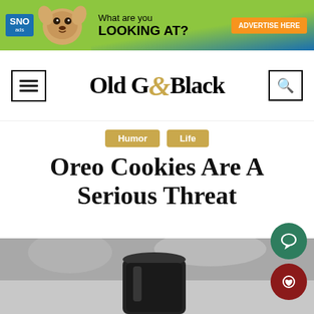[Figure (other): SNO ads banner advertisement showing a chihuahua dog with text 'What are you LOOKING AT?' and an orange 'ADVERTISE HERE' button on a green/blue gradient background]
Old Gold&Black
Humor
Life
Oreo Cookies Are A Serious Threat
[Figure (photo): Black and white photo of what appears to be a cup or container on a countertop, likely related to Oreo cookies]